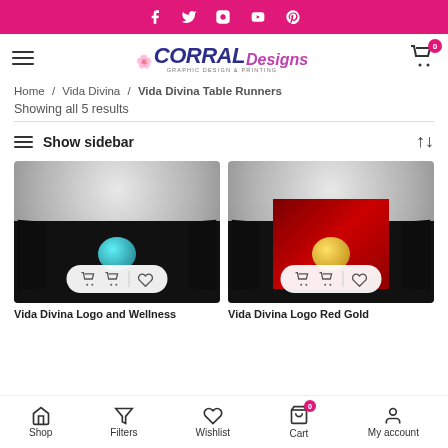Social bar with Facebook, Twitter, Instagram, YouTube, Pinterest icons
[Figure (logo): Corral Designs - Graphic Design & Printing logo with hamburger menu and cart icon]
Home / Vida Divina / Vida Divina Table Runners
Showing all 5 results
Show sidebar
[Figure (photo): Product photo: Vida Divina Logo and Wellness table runner on black tablecloth with teal globe logo]
[Figure (photo): Product photo: Vida Divina Logo Red Gold table runner on black tablecloth with red panel and gold globe]
Vida Divina Logo and Wellness
Vida Divina Logo Red Gold
Shop | Filters | Wishlist | Cart 0 | My account